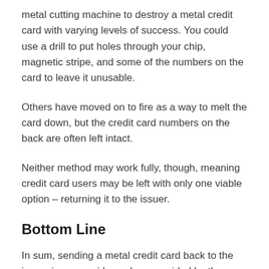metal cutting machine to destroy a metal credit card with varying levels of success. You could use a drill to put holes through your chip, magnetic stripe, and some of the numbers on the card to leave it unusable.
Others have moved on to fire as a way to melt the card down, but the credit card numbers on the back are often left intact.
Neither method may work fully, though, meaning credit card users may be left with only one viable option – returning it to the issuer.
Bottom Line
In sum, sending a metal credit card back to the issuer in a prepaid envelope provided by the